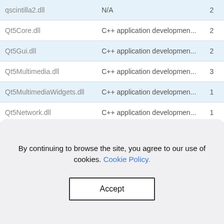|  |  |  |
| --- | --- | --- |
| qscintilla2.dll | N/A | 2 |
| Qt5Core.dll | C++ application developmen... | 2 |
| Qt5Gui.dll | C++ application developmen... | 2 |
| Qt5Multimedia.dll | C++ application developmen... | 3 |
| Qt5MultimediaWidgets.dll | C++ application developmen... | 1 |
| Qt5Network.dll | C++ application developmen... | 1 |
| Qt5OpenGL.dll | C++ application developmen... | 3 |
By continuing to browse the site, you agree to our use of cookies. Cookie Policy.